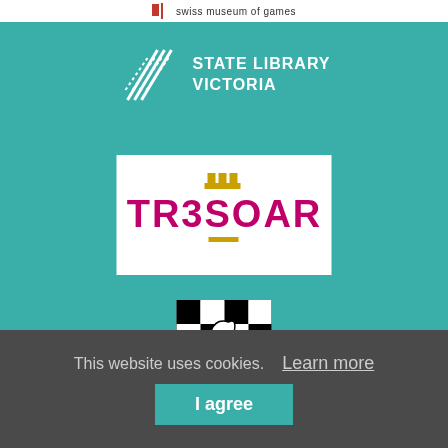[Figure (logo): Swiss Museum of Games logo banner at top — red vertical bar divider with text 'swiss museum of games']
[Figure (logo): State Library Victoria logo — geometric angular leaf/book shape in white with text 'STATE LIBRARY VICTORIA' in white on teal background]
[Figure (logo): TRESOAR logo — magenta/pink bold text 'TRESOAR' with golden crown above the E and golden horizontal lines, on white background]
[Figure (logo): Chess organization logo — black and white checkered pattern with stylized chess knight/dragon figure]
This website uses cookies.
Learn more
I agree